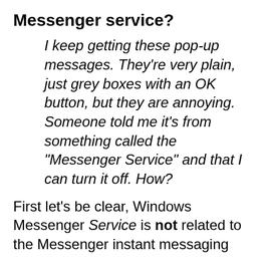How do I disable the Windows Messenger service?
I keep getting these pop-up messages. They're very plain, just grey boxes with an OK button, but they are annoying. Someone told me it's from something called the "Messenger Service" and that I can turn it off. How?
First let's be clear, Windows Messenger Service is not related to the Messenger instant messaging